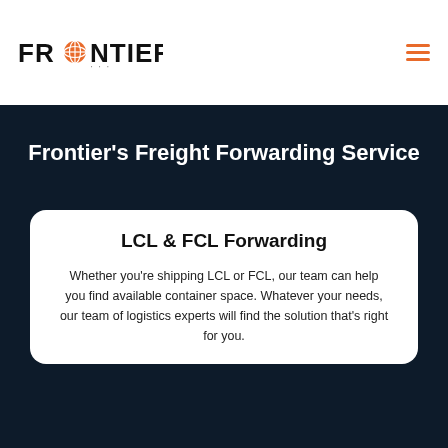FRONTIER
Frontier's Freight Forwarding Service
LCL & FCL Forwarding
Whether you're shipping LCL or FCL, our team can help you find available container space. Whatever your needs, our team of logistics experts will find the solution that's right for you.